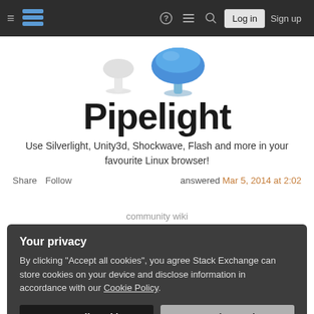Stack Exchange navigation bar with hamburger menu, logo, help, chat, search icons, Log in and Sign up buttons
[Figure (screenshot): Pipelight logo banner showing a blue mushroom-shaped icon and white stand icon, with large bold text 'Pipelight' below]
Use Silverlight, Unity3d, Shockwave, Flash and more in your favourite Linux browser!
Share   Follow          answered Mar 5, 2014 at 2:02
community wiki
Your privacy
By clicking "Accept all cookies", you agree Stack Exchange can store cookies on your device and disclose information in accordance with our Cookie Policy.
Accept all cookies   Customize settings